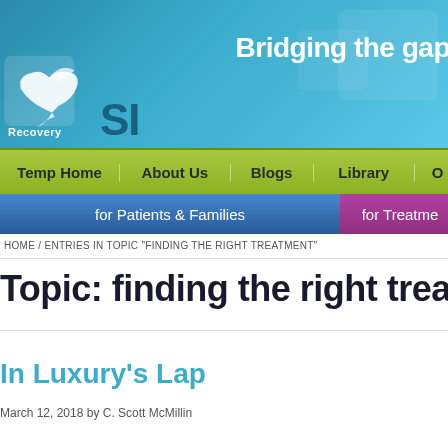[Figure (logo): RecoverySI website header banner with dove logo, 'SI' text, and 'Bridging the gap' tagline on teal/blue gradient background]
Temp Home | About Us | Blogs | Library | O...
for Patients & Families | for Treatme...
HOME / ENTRIES IN TOPIC "FINDING THE RIGHT TREATMENT"
Topic: finding the right treatm...
In Luxury's Lap
March 12, 2018 by C. Scott McMillin